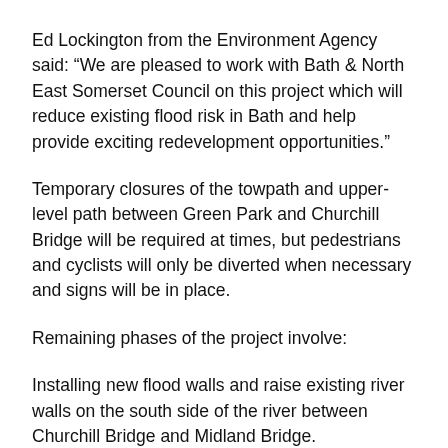Ed Lockington from the Environment Agency said: “We are pleased to work with Bath & North East Somerset Council on this project which will reduce existing flood risk in Bath and help provide exciting redevelopment opportunities.”
Temporary closures of the towpath and upper-level path between Green Park and Churchill Bridge will be required at times, but pedestrians and cyclists will only be diverted when necessary and signs will be in place.
Remaining phases of the project involve:
Installing new flood walls and raise existing river walls on the south side of the river between Churchill Bridge and Midland Bridge.